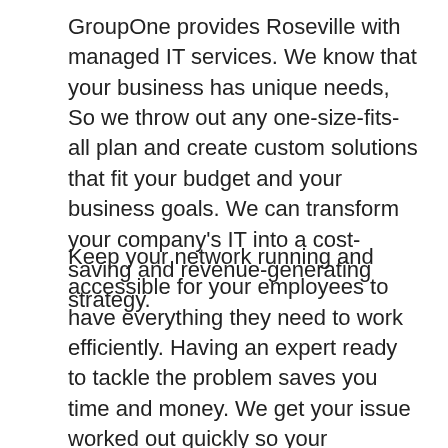GroupOne provides Roseville with managed IT services. We know that your business has unique needs, So we throw out any one-size-fits-all plan and create custom solutions that fit your budget and your business goals. We can transform your company's IT into a cost-saving and revenue-generating strategy.
Keep your network running and accessible for your employees to have everything they need to work efficiently. Having an expert ready to tackle the problem saves you time and money. We get your issue worked out quickly so your company processes can get right back on track.